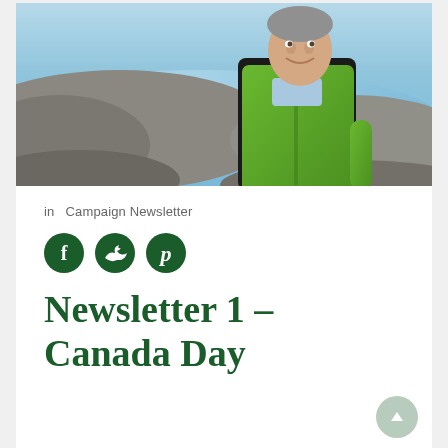[Figure (photo): A smiling man in a bright green winter jacket standing outdoors near rocky terrain and water/lake in the background]
in  Campaign Newsletter
[Figure (infographic): Three circular dark green social media icons: Facebook (f), Twitter (bird), Pinterest (p)]
Newsletter 1 – Canada Day